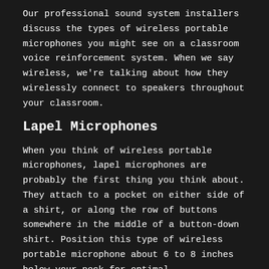Our professional sound system installers discuss the types of wireless portable microphones you might see on a classroom voice reinforcement system. When we say wireless, we're talking about how they wirelessly connect to speakers throughout your classroom.
Lapel Microphones
When you think of wireless portable microphones, lapel microphones are probably the first thing you think about. They attach to a pocket on either side of a shirt, or along the row of buttons somewhere in the middle of a button-down shirt. Position this type of wireless portable microphone about 6 to 8 inches below your neck for optimal effectiveness. The microphone plugs into a portable, battery-powered unit that transmits the signal to the speakers.